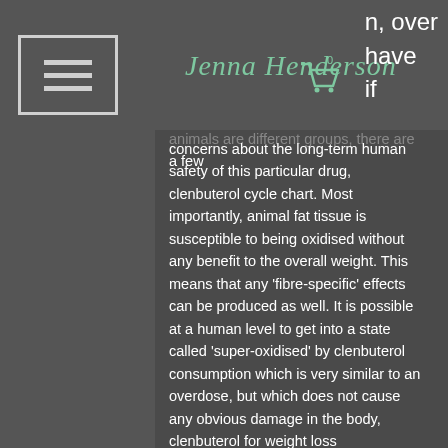Jenna Henderson
animals are different groups, there are a few concerns about the long-term human safety of this particular drug, clenbuterol cycle chart. Most importantly, animal fat tissue is susceptible to being oxidised without any benefit to the overall weight. This means that any 'fibre-specific' effects can be produced as well. It is possible at a human level to get into a state called 'super-oxidised' by clenbuterol consumption which is very similar to an overdose, but which does not cause any obvious damage in the body, clenbuterol for weight loss bodybuilding. This state of super-oxidised fat can last for a long period of time. If you get into this state of super-oxidised fat, you will find that your cardiovascular and brain functions will remain somewhat impaired. You may also get a slight increase in the production of